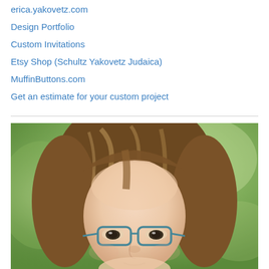erica.yakovetz.com
Design Portfolio
Custom Invitations
Etsy Shop (Schultz Yakovetz Judaica)
MuffinButtons.com
Get an estimate for your custom project
[Figure (photo): Portrait photo of a young woman with long brown hair and blue/teal glasses, photographed against a blurred green background. The photo is cropped showing from the top of the head down to the chin level.]